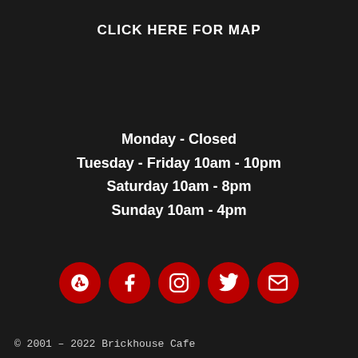CLICK HERE FOR MAP
Monday - Closed
Tuesday - Friday 10am - 10pm
Saturday 10am - 8pm
Sunday 10am - 4pm
[Figure (infographic): Five red circular social media icons: Yelp, Facebook, Instagram, Twitter, Email]
© 2001 – 2022 Brickhouse Cafe